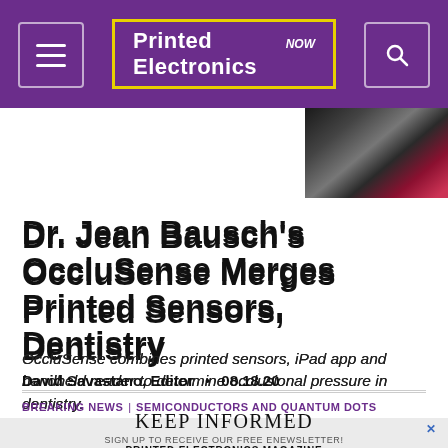Printed Electronics NOW
[Figure (photo): Thumbnail image of playing cards and objects on dark background, top right of page]
Dr. Jean Bausch's OccluSense Merges Printed Sensors, Dentistry
OccluSense combines printed sensors, iPad app and handheld reader to determine occlusional pressure in dentistry.
David Savastano, Editor  •  08.18.20
BREAKING NEWS | SEMICONDUCTORS AND QUANTUM DOTS
KEEP INFORMED
SIGN UP TO RECEIVE OUR FREE ENEWSLETTER!
PRINTED ELECTRONICS MAGAZINE